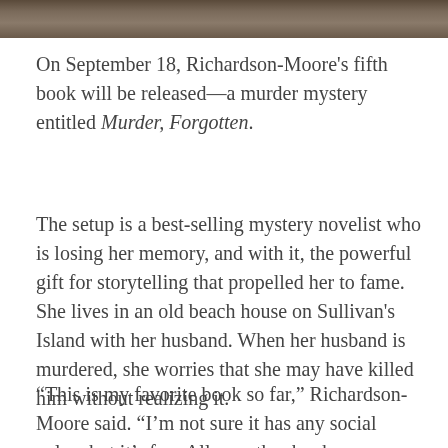[Figure (photo): Top portion of an outdoor photo showing grass or reeds in earth tones, cropped to a narrow strip at the top of the page.]
On September 18, Richardson-Moore's fifth book will be released—a murder mystery entitled Murder, Forgotten.
The setup is a best-selling mystery novelist who is losing her memory, and with it, the powerful gift for storytelling that propelled her to fame. She lives in an old beach house on Sullivan's Island with her husband. When her husband is murdered, she worries that she may have killed him without realizing it.
“This is my favorite book so far,” Richardson-Moore said. “I’m not sure it has any social value, but it’s fun. All my other books were work, but